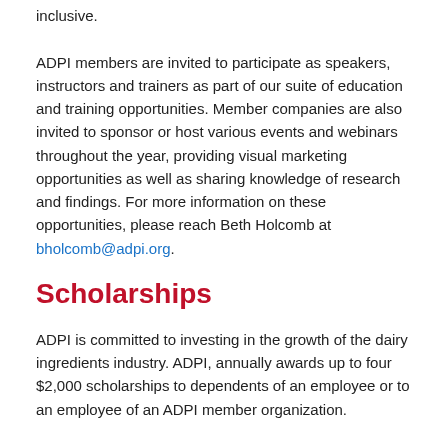inclusive. ADPI members are invited to participate as speakers, instructors and trainers as part of our suite of education and training opportunities. Member companies are also invited to sponsor or host various events and webinars throughout the year, providing visual marketing opportunities as well as sharing knowledge of research and findings. For more information on these opportunities, please reach Beth Holcomb at bholcomb@adpi.org.
Scholarships
ADPI is committed to investing in the growth of the dairy ingredients industry. ADPI, annually awards up to four $2,000 scholarships to dependents of an employee or to an employee of an ADPI member organization.